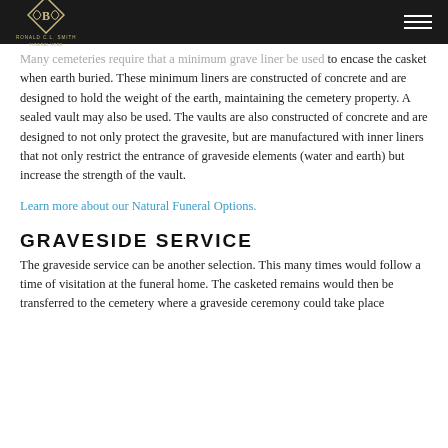Ronald C.L. Smith Funeral Home
Many cemeteries require that a minimum grave liner be used to encase the casket when earth buried. These minimum liners are constructed of concrete and are designed to hold the weight of the earth, maintaining the cemetery property. A sealed vault may also be used. The vaults are also constructed of concrete and are designed to not only protect the gravesite, but are manufactured with inner liners that not only restrict the entrance of graveside elements (water and earth) but increase the strength of the vault.
Learn more about our Natural Funeral Options.
GRAVESIDE SERVICE
The graveside service can be another selection. This many times would follow a time of visitation at the funeral home. The casketed remains would then be transferred to the cemetery where a graveside ceremony could take place